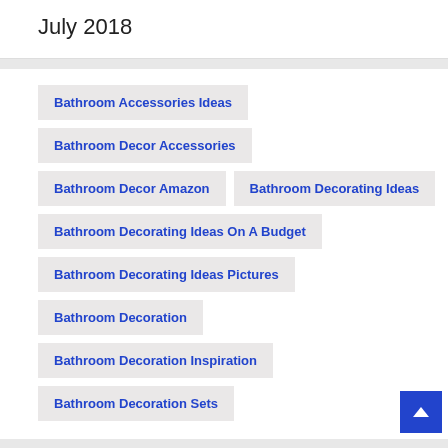July 2018
Bathroom Accessories Ideas
Bathroom Decor Accessories
Bathroom Decor Amazon
Bathroom Decorating Ideas
Bathroom Decorating Ideas On A Budget
Bathroom Decorating Ideas Pictures
Bathroom Decoration
Bathroom Decoration Inspiration
Bathroom Decoration Sets